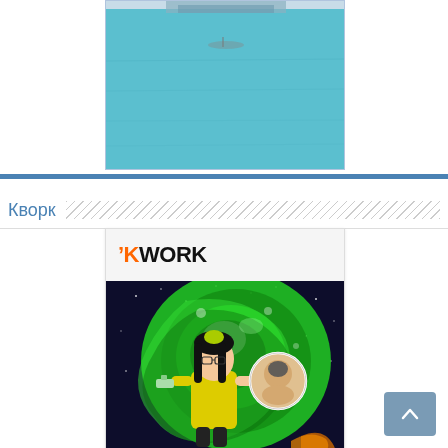[Figure (photo): Aerial or elevated photo of turquoise/teal water (sea or lake) with a dock or pier structure visible at the top edge]
Кворк
[Figure (screenshot): Kwork.ru service card screenshot showing the KWORK logo on a light grey bar, and below it an animated illustration in Rick and Morty style featuring a girl in a yellow outfit in front of a green portal vortex with a circular photo insert of a real person, set against a dark space background]